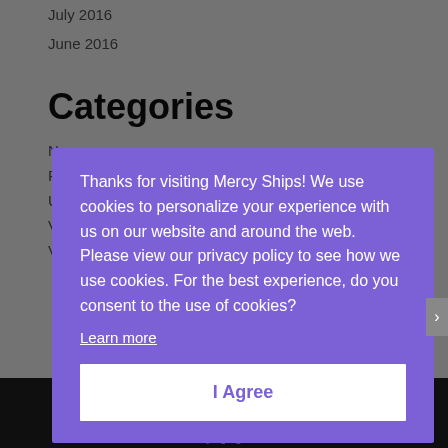July 2016
June 2016
Categories
Thanks for visiting Mercy Ships! We use cookies to personalize your experience with us on our website and around the web. Please view our privacy policy to see how we use cookies. For the best experience, do you consent to the use of cookies?
Learn more
I Agree